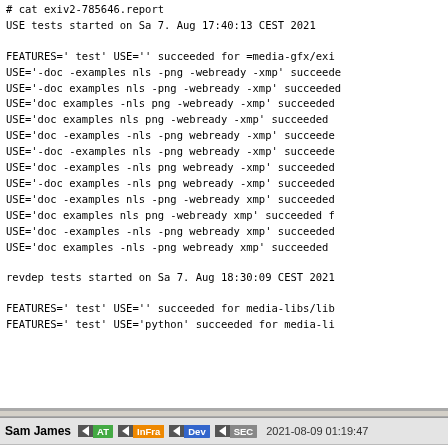# cat exiv2-785646.report
USE tests started on Sa 7. Aug 17:40:13 CEST 2021

FEATURES=' test' USE='' succeeded for =media-gfx/exi
USE='-doc -examples nls -png -webready -xmp' succeede
USE='-doc examples nls -png -webready -xmp' succeeded
USE='doc examples -nls png -webready -xmp' succeeded
USE='doc examples nls png -webready -xmp' succeeded
USE='doc -examples -nls -png webready -xmp' succeede
USE='-doc -examples nls -png webready -xmp' succeede
USE='doc -examples -nls png webready -xmp' succeeded
USE='-doc examples -nls png webready -xmp' succeeded
USE='doc -examples nls -png -webready xmp' succeeded
USE='doc examples nls png -webready xmp' succeeded f
USE='doc -examples -nls -png webready xmp' succeeded
USE='doc examples -nls -png webready xmp' succeeded

revdep tests started on Sa 7. Aug 18:30:09 CEST 2021

FEATURES=' test' USE='' succeeded for media-libs/lib
FEATURES=' test' USE='python' succeeded for media-li
Sam James  AT  InFra  Dev  SEC  2021-08-09 01:19:47
ppc done
Sam James  AT  InFra  Dev  SEC  2021-08-27 19:58:48